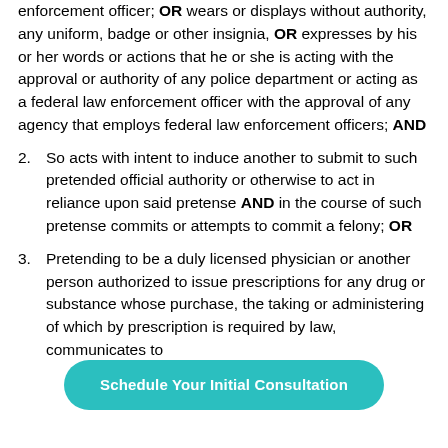enforcement officer; OR wears or displays without authority, any uniform, badge or other insignia, OR expresses by his or her words or actions that he or she is acting with the approval or authority of any police department or acting as a federal law enforcement officer with the approval of any agency that employs federal law enforcement officers; AND
2. So acts with intent to induce another to submit to such pretended official authority or otherwise to act in reliance upon said pretense AND in the course of such pretense commits or attempts to commit a felony; OR
3. Pretending to be a duly licensed physician or another person authorized to issue prescriptions for any drug or substance whose purchase, the taking or administering of which by prescription is required by law, communicates to
Schedule Your Initial Consultation